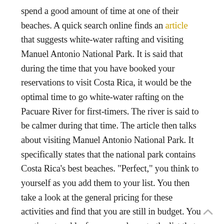spend a good amount of time at one of their beaches. A quick search online finds an article that suggests white-water rafting and visiting Manuel Antonio National Park. It is said that during the time that you have booked your reservations to visit Costa Rica, it would be the optimal time to go white-water rafting on the Pacuare River for first-timers. The river is said to be calmer during that time. The article then talks about visiting Manuel Antonio National Park. It specifically states that the national park contains Costa Rica’s best beaches. “Perfect,” you think to yourself as you add them to your list. You then take a look at the general pricing for these activities and find that you are still in budget. You continue to add a few more places to the list that include markets,